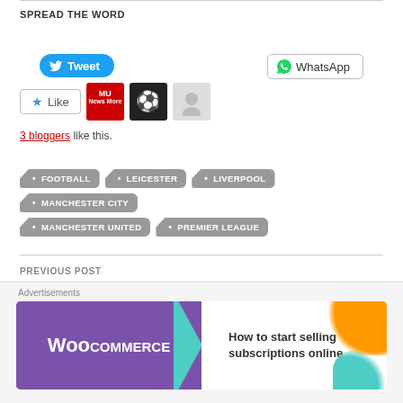SPREAD THE WORD
[Figure (other): Tweet button (blue rounded) and WhatsApp button (outlined)]
[Figure (other): Like button with star icon and three blogger avatar thumbnails (MU News, football, face)]
3 bloggers like this.
FOOTBALL
LEICESTER
LIVERPOOL
MANCHESTER CITY
MANCHESTER UNITED
PREMIER LEAGUE
PREVIOUS POST
Tony Ferguson and Beneil Dariush both facing crossroads at UFC 262
[Figure (other): WooCommerce advertisement banner: How to start selling subscriptions online]